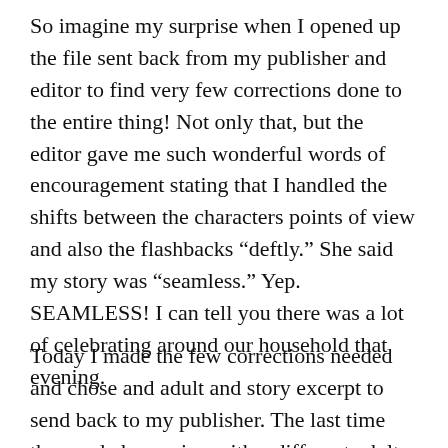So imagine my surprise when I opened up the file sent back from my publisher and editor to find very few corrections done to the entire thing! Not only that, but the editor gave me such wonderful words of encouragement stating that I handled the shifts between the characters points of view and also the flashbacks “deftly.” She said my story was “seamless.” Yep. SEAMLESS! I can tell you there was a lot of celebrating around our household that evening.
Today I made the few corrections needed and chose and adult and story excerpt to send back to my publisher. The last time they ended up going with a different adult excerpt,